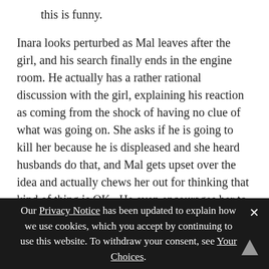this is funny.
Inara looks perturbed as Mal leaves after the girl, and his search finally ends in the engine room. He actually has a rather rational discussion with the girl, explaining his reaction as coming from the shock of having no clue of what was going on. She asks if he is going to kill her because he is displeased and she heard husbands do that, and Mal gets upset over the idea and actually chews her out for thinking that kind of thing is OK.  He even encourages her to have a spine and stand up for herself. He then tells her that when they get to the Beaumond in five days, she should be able to get off and find decent work in a factory or on a farm.
Our Privacy Notice has been updated to explain how we use cookies, which you accept by continuing to use this website. To withdraw your consent, see Your Choices.